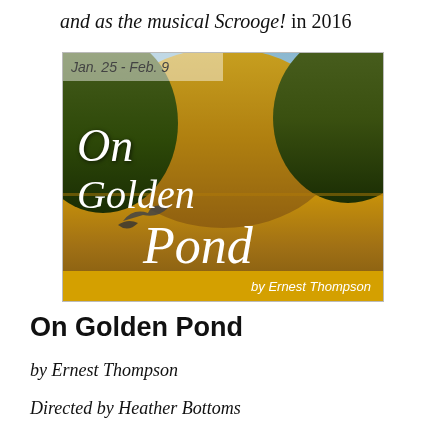and as the musical Scrooge! in 2016
[Figure (illustration): Theatrical poster for 'On Golden Pond' by Ernest Thompson. Shows a scenic autumn pond with golden and green trees reflected in calm water, a bird in flight over the water. Date shown: Jan. 25 - Feb. 9. Title in large white italic script. Yellow bar at bottom with 'by Ernest Thompson' in white italic text.]
On Golden Pond
by Ernest Thompson
Directed by Heather Bottoms